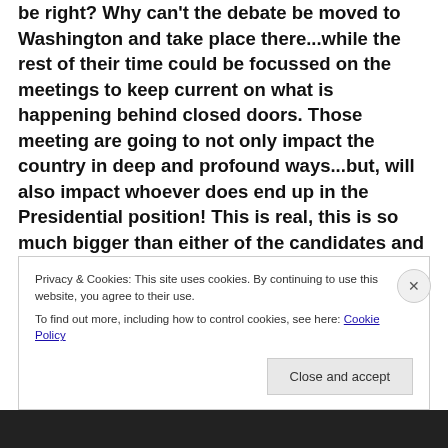be right?  Why can't the debate be moved to Washington and take place there...while the rest of their time could be focussed on the meetings to keep current on what is happening behind closed doors. Those meeting are going to not only impact the country in deep and profound ways...but, will also impact whoever does end up in the Presidential position!  This is real, this is so much bigger than either of the candidates and they both need to understand that the American people are going to have their decision made for them by the end of this
Privacy & Cookies: This site uses cookies. By continuing to use this website, you agree to their use.
To find out more, including how to control cookies, see here: Cookie Policy
Close and accept